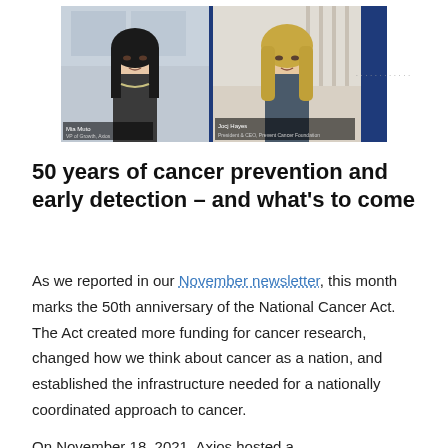[Figure (photo): Video call screenshot showing two women. Left: Mia Muto, VP of Growth, Axios. Right: Jocy Hayes, President & CEO, Prevent Cancer Foundation. Both appear in a split-screen video conference format with a dark blue border.]
50 years of cancer prevention and early detection – and what's to come
As we reported in our November newsletter, this month marks the 50th anniversary of the National Cancer Act. The Act created more funding for cancer research, changed how we think about cancer as a nation, and established the infrastructure needed for a nationally coordinated approach to cancer.
On November 18, 2021, Axios hosted a